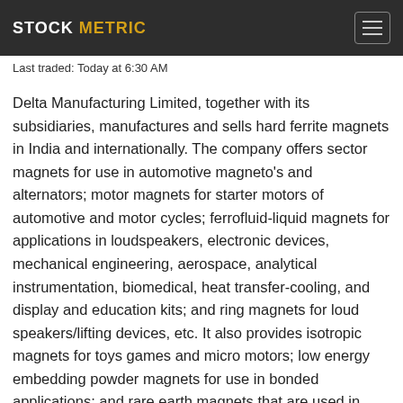STOCK METRIC
Last traded: Today at 6:30 AM
Delta Manufacturing Limited, together with its subsidiaries, manufactures and sells hard ferrite magnets in India and internationally. The company offers sector magnets for use in automotive magneto's and alternators; motor magnets for starter motors of automotive and motor cycles; ferrofluid-liquid magnets for applications in loudspeakers, electronic devices, mechanical engineering, aerospace, analytical instrumentation, biomedical, heat transfer-cooling, and display and education kits; and ring magnets for loud speakers/lifting devices, etc. It also provides isotropic magnets for toys games and micro motors; low energy embedding powder magnets for use in bonded applications; and rare earth magnets that are used in electric vehicle drive motors, solar pumps, and drone motors. In addition, the company manufactures soft ferrites; and textile woven labels, fabric printed labels, and elastic/woven tapes. Further, it processes metal powders and